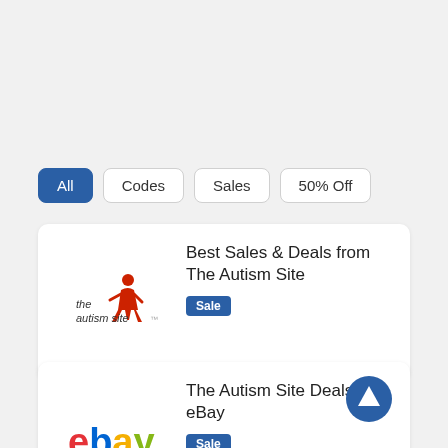All
Codes
Sales
50% Off
Best Sales & Deals from The Autism Site
Sale
[Figure (logo): The Autism Site logo with red figure icon and italic text]
The Autism Site Deals on eBay
Sale
[Figure (logo): eBay colorful logo in red, blue, yellow, and green]
[Figure (other): Blue circular button with white upward arrow]